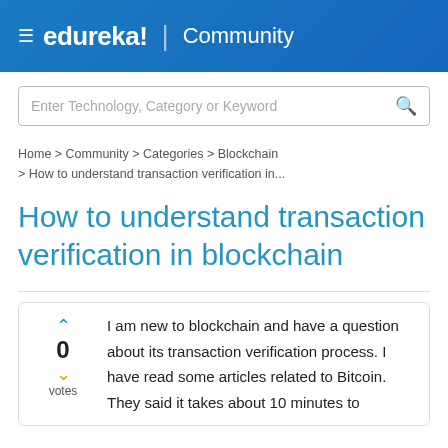≡ edureka! | Community
Enter Technology, Category or Keyword
Home > Community > Categories > Blockchain > How to understand transaction verification in...
How to understand transaction verification in blockchain
0 votes
I am new to blockchain and have a question about its transaction verification process. I have read some articles related to Bitcoin. They said it takes about 10 minutes to